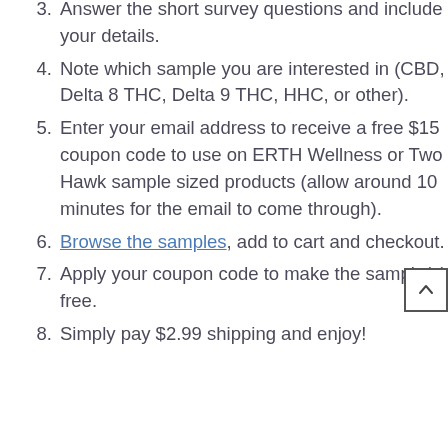3. Answer the short survey questions and include your details.
4. Note which sample you are interested in (CBD, Delta 8 THC, Delta 9 THC, HHC, or other).
5. Enter your email address to receive a free $15 coupon code to use on ERTH Wellness or Two Hawk sample sized products (allow around 10 minutes for the email to come through).
6. Browse the samples, add to cart and checkout.
7. Apply your coupon code to make the sample(s) free.
8. Simply pay $2.99 shipping and enjoy!